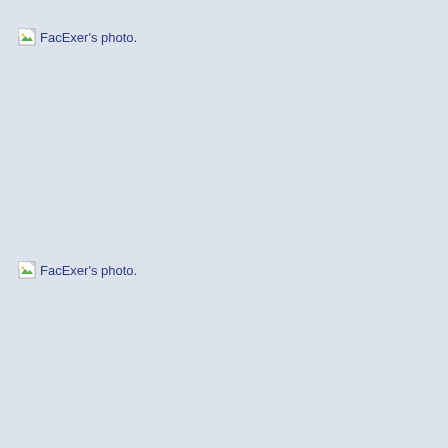[Figure (photo): Broken image placeholder: FacExer's photo. Located near top-left of page.]
[Figure (photo): Broken image placeholder: FacExer's photo. Located in lower-left area of page.]